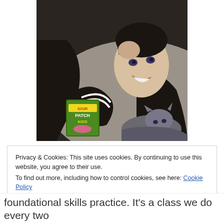[Figure (photo): A young woman smiling, lying down with a cat and holding a Sour Patch Kids candy box. Photo has a vintage/desaturated filter applied.]
Privacy & Cookies: This site uses cookies. By continuing to use this website, you agree to their use.
To find out more, including how to control cookies, see here: Cookie Policy
Close and accept
foundational skills practice. It's a class we do every two